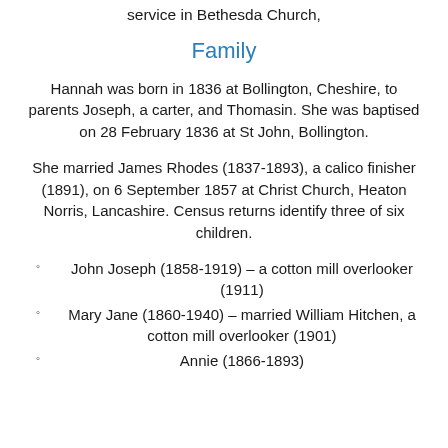service in Bethesda Church,
Family
Hannah was born in 1836 at Bollington, Cheshire, to parents Joseph, a carter, and Thomasin. She was baptised on 28 February 1836 at St John, Bollington.
She married James Rhodes (1837-1893), a calico finisher (1891), on 6 September 1857 at Christ Church, Heaton Norris, Lancashire. Census returns identify three of six children.
John Joseph (1858-1919) – a cotton mill overlooker (1911)
Mary Jane (1860-1940) – married William Hitchen, a cotton mill overlooker (1901)
Annie (1866-1893)